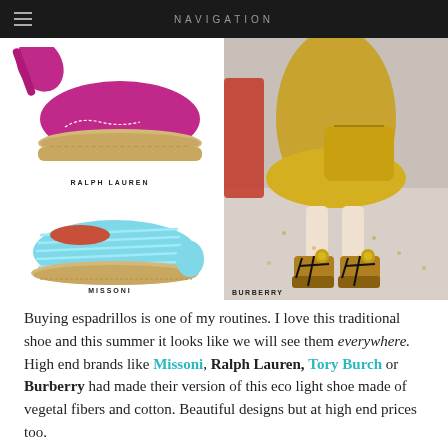NAVIGATION
[Figure (photo): Fashion collage showing two pairs of espadrilles on white background (top: pink Ralph Lauren, bottom: light blue Missoni) on the left, and a runway photo of Burberry wedge sandals on the right.]
RALPH LAUREN
MISSONI
BURBERRY
Buying espadrillos is one of my routines. I love this traditional shoe and this summer it looks like we will see them everywhere. High end brands like Missoni, Ralph Lauren, Tory Burch or Burberry had made their version of this eco light shoe made of vegetal fibers and cotton. Beautiful designs but at high end prices too.